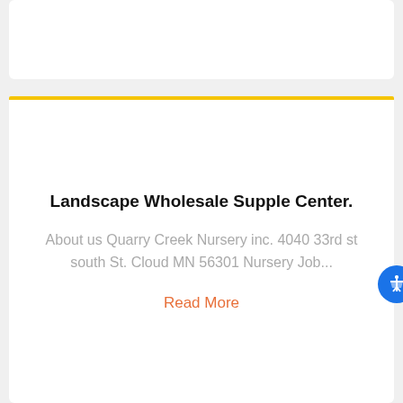Landscape Wholesale Supple Center.
About us Quarry Creek Nursery inc. 4040 33rd st south St. Cloud MN 56301 Nursery Job...
Read More